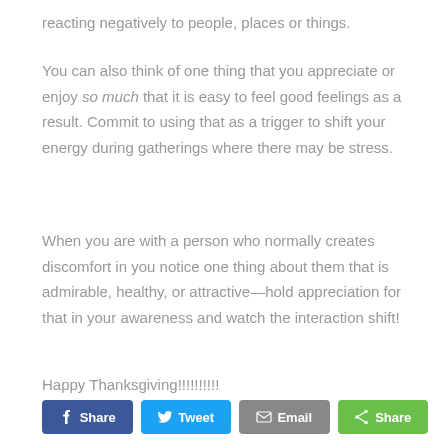reacting negatively to people, places or things.
You can also think of one thing that you appreciate or enjoy so much that it is easy to feel good feelings as a result. Commit to using that as a trigger to shift your energy during gatherings where there may be stress.
When you are with a person who normally creates discomfort in you notice one thing about them that is admirable, healthy, or attractive—hold appreciation for that in your awareness and watch the interaction shift!
Happy Thanksgiving!!!!!!!!!!
[Figure (other): Social sharing buttons: Facebook Share, Twitter Tweet, Email, and a generic Share button]